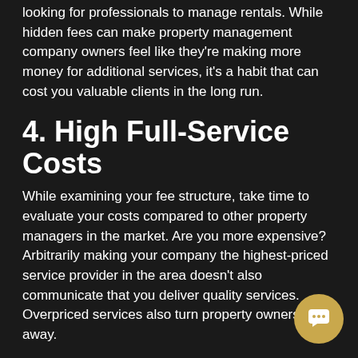looking for professionals to manage rentals. While hidden fees can make property management company owners feel like they're making more money for additional services, it's a habit that can cost you valuable clients in the long run.
4. High Full-Service Costs
While examining your fee structure, take time to evaluate your costs compared to other property managers in the market. Are you more expensive? Arbitrarily making your company the highest-priced service provider in the area doesn't also communicate that you deliver quality services. Overpriced services also turn property owners away.
Set a reasonable and competitive price point for your services that covers your operating costs and communicates an excellent value to investors. You'll find more real estate rental owners willing to join your portfolio of managed doors when your services fit more budgets!